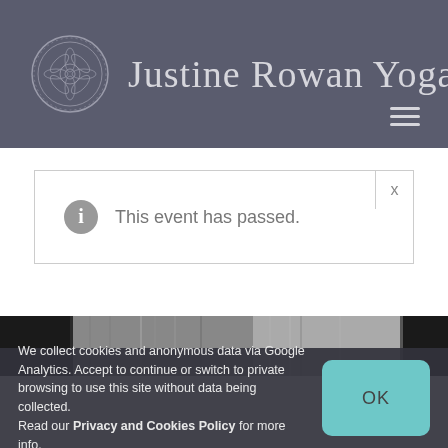Justine Rowan Yoga
This event has passed.
[Figure (photo): Grayscale photograph visible as a strip at the bottom of the main content area]
We collect cookies and anonymous data via Google Analytics. Accept to continue or switch to private browsing to use this site without data being collected. Read our Privacy and Cookies Policy for more info.